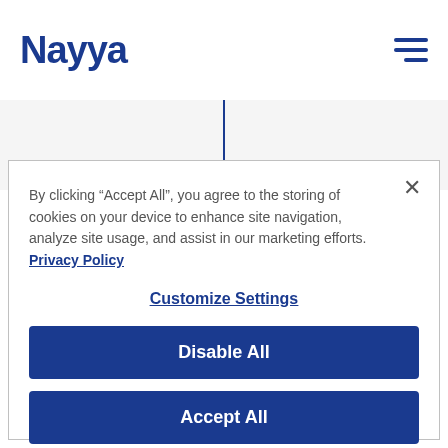Nayya
[Figure (infographic): Vertical timeline line with a blue circle dot at the bottom, on a light gray background]
By clicking “Accept All”, you agree to the storing of cookies on your device to enhance site navigation, analyze site usage, and assist in our marketing efforts.  Privacy Policy
Customize Settings
Disable All
Accept All